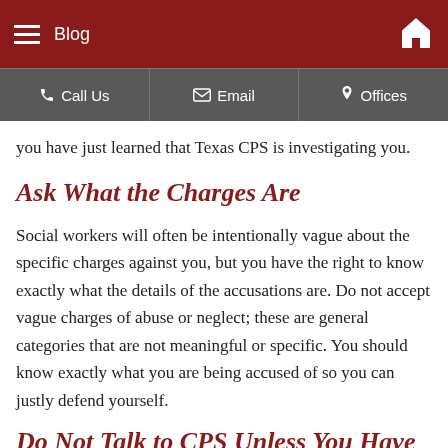Blog
Call Us  Email  Offices
you have just learned that Texas CPS is investigating you.
Ask What the Charges Are
Social workers will often be intentionally vague about the specific charges against you, but you have the right to know exactly what the details of the accusations are. Do not accept vague charges of abuse or neglect; these are general categories that are not meaningful or specific. You should know exactly what you are being accused of so you can justly defend yourself.
Do Not Talk to CPS Unless You Have